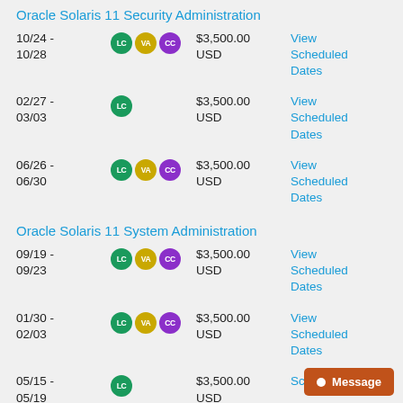Oracle Solaris 11 Security Administration
10/24 - 10/28  LC VA CC  $3,500.00 USD  View Scheduled Dates
02/27 - 03/03  LC  $3,500.00 USD  View Scheduled Dates
06/26 - 06/30  LC VA CC  $3,500.00 USD  View Scheduled Dates
Oracle Solaris 11 System Administration
09/19 - 09/23  LC VA CC  $3,500.00 USD  View Scheduled Dates
01/30 - 02/03  LC VA CC  $3,500.00 USD  View Scheduled Dates
05/15 - 05/19  LC  $3,500.00 USD  View Scheduled Dates